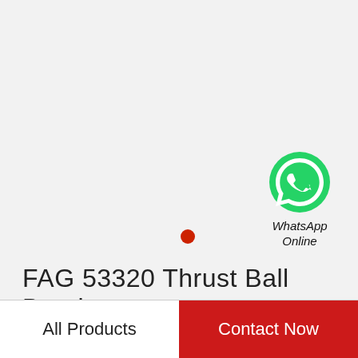[Figure (logo): WhatsApp green circle icon with white phone handset, with label 'WhatsApp Online' below in italic black text]
[Figure (other): Small red filled circle dot]
FAG 53320 Thrust Ball Bearing
All Products | Contact Now